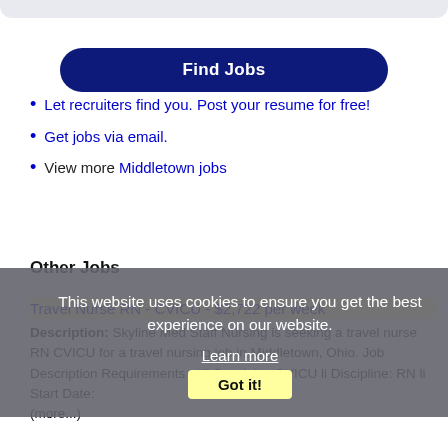[Figure (other): Top search bar area, light blue/grey rounded rectangle]
Find Jobs
Let recruiters find you. Post your resume for free!
Get jobs via email.
View more Middletown jobs
Other Jobs
Travel Nurse RN - CVICU - $2,722 per week Description: Skyline Med Staff Nursing is seeking a travel nurse RN CVICU for a travel nursing job in Middletown, Ohio. Job Description Requirements ul li Specialty: CVICU li Discipline: RN li Start Date: (more...)
This website uses cookies to ensure you get the best experience on our website. Learn more Got it!